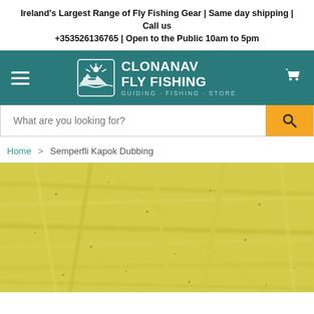Ireland's Largest Range of Fly Fishing Gear | Same day shipping | Call us +353526136765 | Open to the Public 10am to 5pm
[Figure (logo): Clonanav Fly Fishing logo with fish icon and text: CLONANAV FLY FISHING GUIDING · FISHING · STORE on teal background]
What are you looking for?
Home > Semperfli Kapok Dubbing
[Figure (photo): Close-up macro photo of yellow/chartreuse kapok dubbing material showing soft fibrous texture]